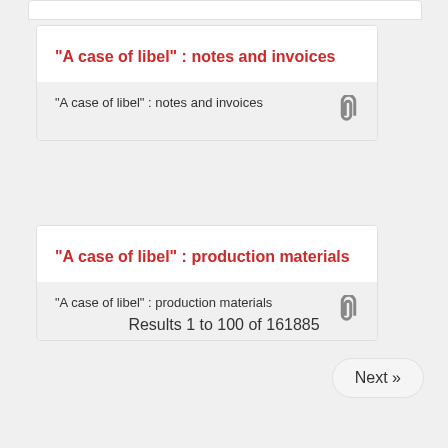"A case of libel" : notes and invoices
"A case of libel" : notes and invoices
"A case of libel" : production materials
"A case of libel" : production materials
Results 1 to 100 of 161885
Next »